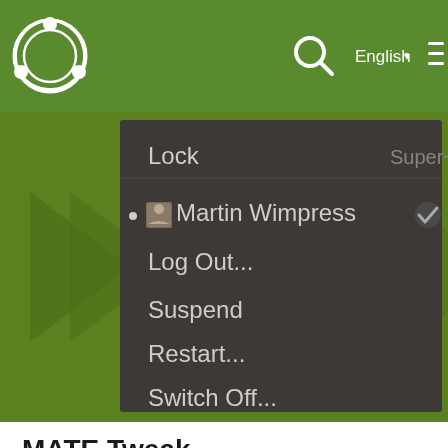[Figure (screenshot): Ubuntu MATE website navigation bar with green background, Ubuntu MATE logo (circular), search icon, English language selector, and hamburger menu icon]
[Figure (screenshot): Ubuntu MATE desktop screenshot showing a context menu with options: Lock (Super+L), Martin Wimpress (with avatar and checkmark), Log Out..., Suspend, Restart..., Switch Off...]
MATE Tweak
MATE Tweak is your gateway to activating different user interface layouts and exploring the contrasting ways you can run Ubuntu MATE. MATE Tweak has been given a coat of fresh paint and adds a couple of much requested features.